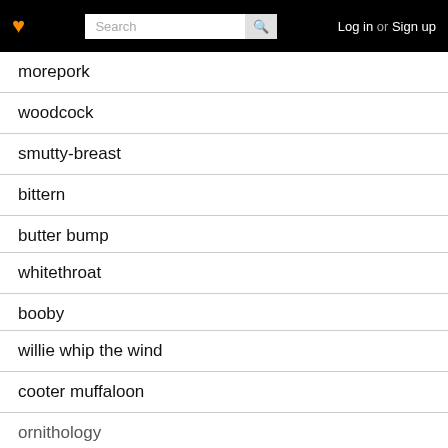Search  Log in or Sign up
morepork
woodcock
smutty-breast
bittern
butter bump
whitethroat
booby
willie whip the wind
cooter muffaloon
ornithology